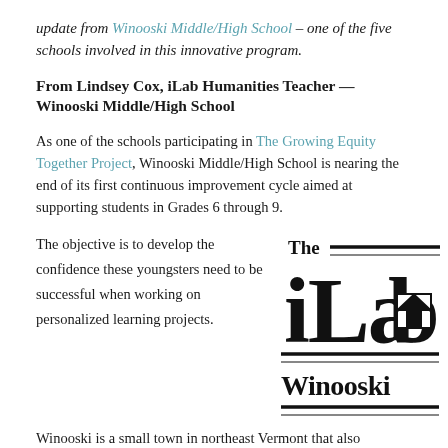update from Winooski Middle/High School – one of the five schools involved in this innovative program.
From Lindsey Cox, iLab Humanities Teacher — Winooski Middle/High School
As one of the schools participating in The Growing Equity Together Project, Winooski Middle/High School is nearing the end of its first continuous improvement cycle aimed at supporting students in Grades 6 through 9.
The objective is to develop the confidence these youngsters need to be successful when working on personalized learning projects.
[Figure (logo): The iLab Winooski logo in black and white — large bold text 'iLab' with a house icon integrated into the letter 'b', the word 'The' at top with horizontal rules, and 'Winooski' at the bottom with a horizontal rule.]
Winooski is a small town in northeast Vermont that also...